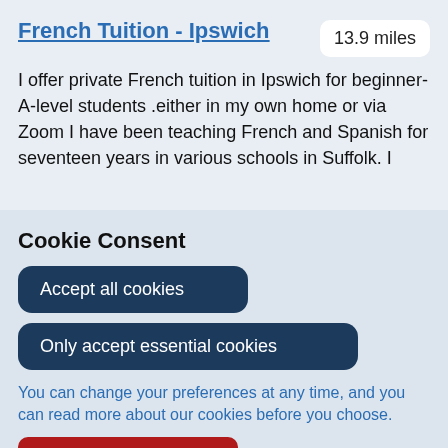French Tuition - Ipswich
13.9 miles
I offer private French tuition in Ipswich for beginner- A-level students .either in my own home or via Zoom I have been teaching French and Spanish for seventeen years in various schools in Suffolk. I
Cookie Consent
Accept all cookies
Only accept essential cookies
You can change your preferences at any time, and you can read more about our cookies before you choose.
Leave Website